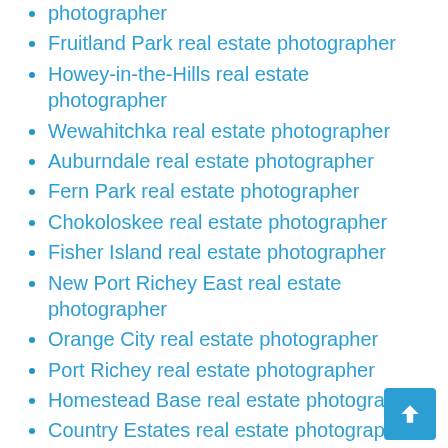photographer
Fruitland Park real estate photographer
Howey-in-the-Hills real estate photographer
Wewahitchka real estate photographer
Auburndale real estate photographer
Fern Park real estate photographer
Chokoloskee real estate photographer
Fisher Island real estate photographer
New Port Richey East real estate photographer
Orange City real estate photographer
Port Richey real estate photographer
Homestead Base real estate photographer
Country Estates real estate photographer
Miami Shores village real estate photographer
Reddick real estate photographer